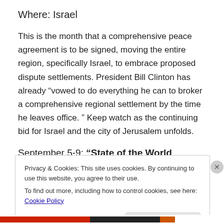Where: Israel
This is the month that a comprehensive peace agreement is to be signed, moving the entire region, specifically Israel, to embrace proposed dispute settlements. President Bill Clinton has already “vowed to do everything he can to broker a comprehensive regional settlement by the time he leaves office. ” Keep watch as the continuing bid for Israel and the city of Jerusalem unfolds.
September 5-9: “State of the World Forum”
Privacy & Cookies: This site uses cookies. By continuing to use this website, you agree to their use.
To find out more, including how to control cookies, see here: Cookie Policy